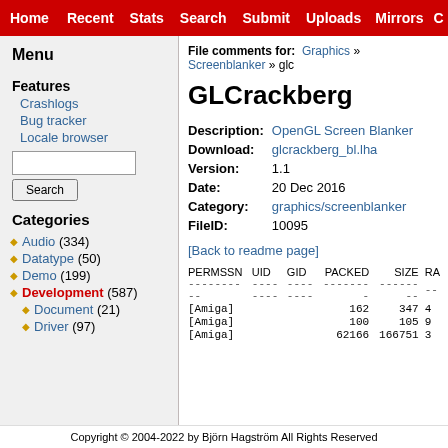Home  Recent  Stats  Search  Submit  Uploads  Mirrors  C...
Menu
Features
Crashlogs
Bug tracker
Locale browser
Categories
Audio (334)
Datatype (50)
Demo (199)
Development (587)
Document (21)
Driver (97)
File comments for:  Graphics » Screenblanker » glc...
GLCrackberg
| Field | Value |
| --- | --- |
| Description: | OpenGL Screen Blanker |
| Download: | glcrackberg_bl.lha |
| Version: | 1.1 |
| Date: | 20 Dec 2016 |
| Category: | graphics/screenblanker |
| FileID: | 10095 |
[Back to readme page]
| PERMSSN | UID | GID | PACKED | SIZE | RA... |
| --- | --- | --- | --- | --- | --- |
| ---------- | -------- | -------- | -------- | -------- | -- |
| [Amiga] |  |  | 162 | 347 | 4... |
| [Amiga] |  |  | 100 | 105 | 9... |
| [Amiga] |  |  | 62166 | 166751 | 3... |
Copyright © 2004-2022 by Björn Hagström All Rights Reserved